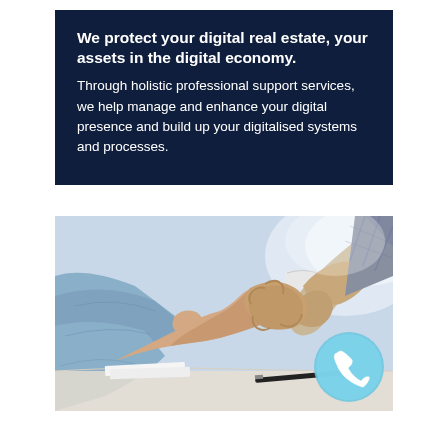We protect your digital real estate, your assets in the digital economy. Through holistic professional support services, we help manage and enhance your digital presence and build up your digitalised systems and processes.
[Figure (photo): Two people shaking hands across a table with a pen and documents visible, one person wearing a blue shirt]